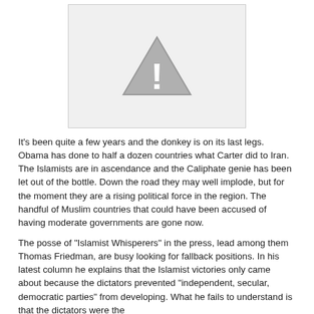[Figure (other): Placeholder image with a warning triangle icon (exclamation mark inside triangle) on a light grey background]
It's been quite a few years and the donkey is on its last legs. Obama has done to half a dozen countries what Carter did to Iran. The Islamists are in ascendance and the Caliphate genie has been let out of the bottle. Down the road they may well implode, but for the moment they are a rising political force in the region. The handful of Muslim countries that could have been accused of having moderate governments are gone now.
The posse of "Islamist Whisperers" in the press, lead among them Thomas Friedman, are busy looking for fallback positions. In his latest column he explains that the Islamist victories only came about because the dictators prevented "independent, secular, democratic parties" from developing. What he fails to understand is that the dictators were the